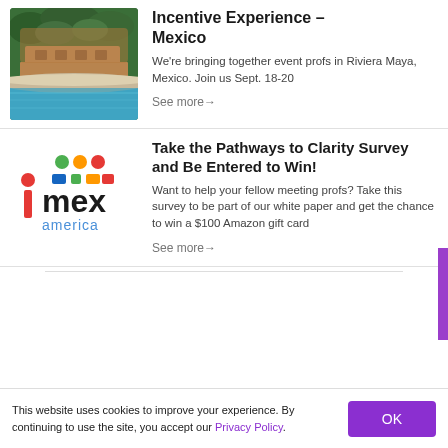[Figure (photo): Aerial photo of a resort hotel in a tropical green setting near a beach, Riviera Maya Mexico]
Incentive Experience – Mexico
We're bringing together event profs in Riviera Maya, Mexico. Join us Sept. 18-20
See more →
[Figure (logo): IMEX America logo with colorful dot icons and text]
Take the Pathways to Clarity Survey and Be Entered to Win!
Want to help your fellow meeting profs? Take this survey to be part of our white paper and get the chance to win a $100 Amazon gift card
See more →
This website uses cookies to improve your experience. By continuing to use the site, you accept our Privacy Policy.